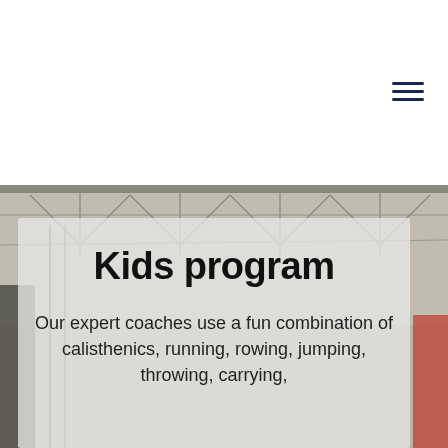[Figure (photo): Gym interior with steel ceiling trusses and equipment visible in the background; children and coaches partially visible on the sides. A semi-transparent white overlay card is placed over the lower portion of the image.]
Kids program
Our expert coaches use a fun combination of calisthenics, running, rowing, jumping, throwing, carrying,